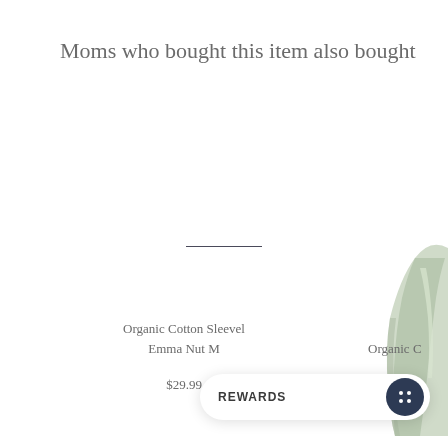Moms who bought this item also bought
[Figure (other): Horizontal divider line centered on page]
[Figure (photo): Partial view of a light sage/mint colored organic cotton clothing item, visible on the right side of the page]
Organic Cotton Sleevel
Emma Nut M
Organic C
$29.99
REWARDS